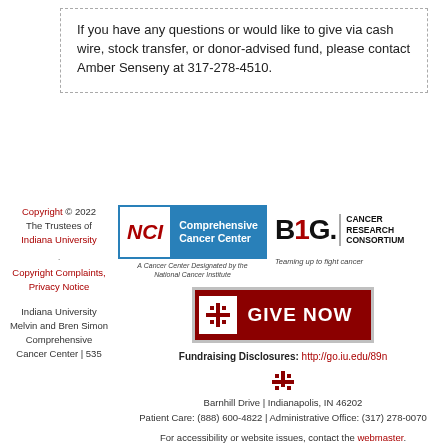If you have any questions or would like to give via cash wire, stock transfer, or donor-advised fund, please contact Amber Senseny at 317-278-4510.
[Figure (logo): NCI Comprehensive Cancer Center logo]
[Figure (logo): B1G Cancer Research Consortium logo]
Copyright © 2022 The Trustees of Indiana University
Copyright Complaints, Privacy Notice
Indiana University Melvin and Bren Simon Comprehensive Cancer Center | 535
[Figure (logo): GIVE NOW button with IU trident symbol]
Fundraising Disclosures: http://go.iu.edu/89n
Barnhill Drive | Indianapolis, IN 46202 Patient Care: (888) 600-4822 | Administrative Office: (317) 278-0070
For accessibility or website issues, contact the webmaster.